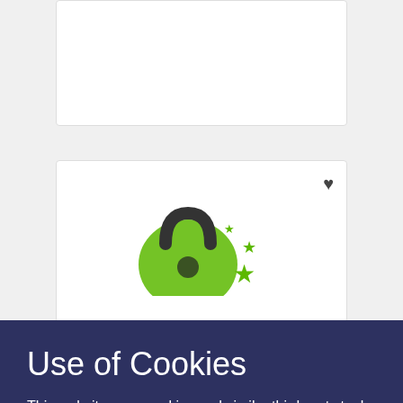[Figure (screenshot): Partial white card at top of page, mostly blank/cropped]
[Figure (screenshot): White card with dark heart icon in top right and green VPN-style lock icon with green stars graphic in center]
Use of Cookies
This website uses cookies and similar third-party tools to personalize content for a better user experience. Without continues, our website may not function properly. If you continue to use our website, you indicate that you agree to our terms and cookies policy.
Got it!